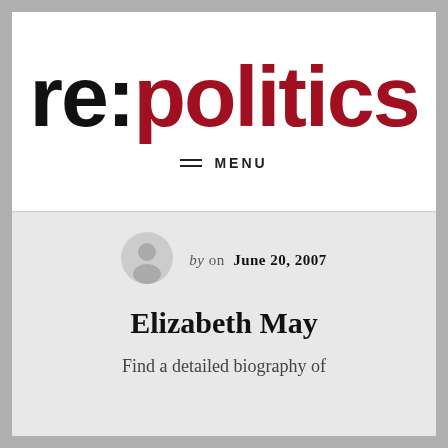[Figure (logo): re:politics logo — 're:' in black bold, 'politics' in dark red bold, large display font]
MENU
[Figure (illustration): Generic user avatar icon — grey circle with silhouette of head and shoulders]
by on  June 20, 2007
Elizabeth May
Find a detailed biography of